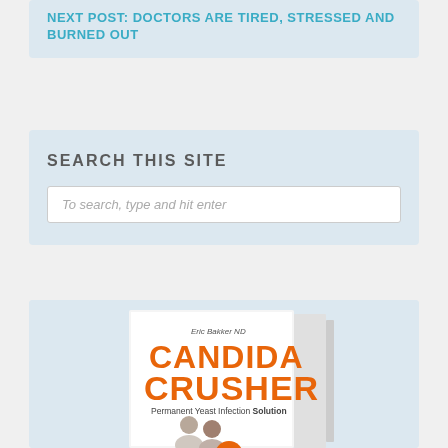NEXT POST: DOCTORS ARE TIRED, STRESSED AND BURNED OUT
SEARCH THIS SITE
To search, type and hit enter
[Figure (photo): Book cover of 'Candida Crusher: Permanent Yeast Infection Solution' by Eric Bakker ND, showing two smiling people (man and woman) on the cover]